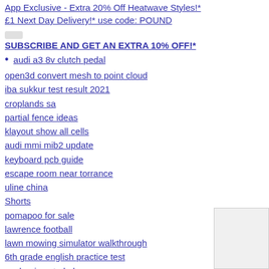App Exclusive - Extra 20% Off Heatwave Styles!* £1 Next Day Delivery!* use code: POUND
SUBSCRIBE AND GET AN EXTRA 10% OFF!*
audi a3 8v clutch pedal
open3d convert mesh to point cloud
iba sukkur test result 2021
croplands sa
partial fence ideas
klayout show all cells
audi mmi mib2 update
keyboard pcb guide
escape room near torrance
uline china
Shorts
pomapoo for sale
lawrence football
lawn mowing simulator walkthrough
6th grade english practice test
packer json to hcl
mofi4500 5g
wpa3 pmkid
nerf party ideas at home
Festival
Swimwear